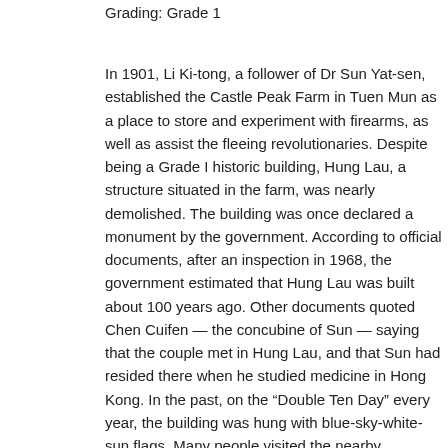Grading: Grade 1
In 1901, Li Ki-tong, a follower of Dr Sun Yat-sen, established the Castle Peak Farm in Tuen Mun as a place to store and experiment with firearms, as well as assist the fleeing revolutionaries. Despite being a Grade I historic building, Hung Lau, a structure situated in the farm, was nearly demolished. The building was once declared a monument by the government. According to official documents, after an inspection in 1968, the government estimated that Hung Lau was built about 100 years ago. Other documents quoted Chen Cuifen — the concubine of Sun — saying that the couple met in Hung Lau, and that Sun had resided there when he studied medicine in Hong Kong. In the past, on the “Double Ten Day” every year, the building was hung with blue-sky-white-sun flags. Many people visited the nearby